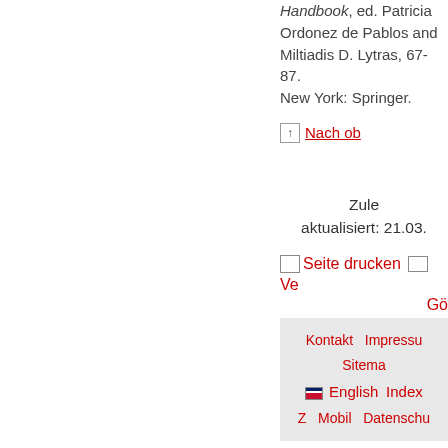Handbook, ed. Patricia Ordonez de Pablos and Miltiadis D. Lytras, 67-87. New York: Springer.
Nach ob
Zuletzt aktualisiert: 21.03.
Seite drucken   Ve  Gö
Kontakt  Impressu  Sitema  English  Index  Z  Mobil  Datenschu